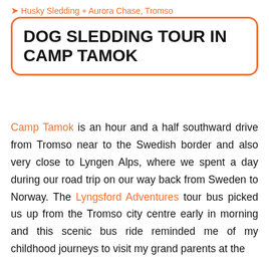Husky Sledding + Aurora Chase, Tromso
DOG SLEDDING TOUR IN CAMP TAMOK
Camp Tamok is an hour and a half southward drive from Tromso near to the Swedish border and also very close to Lyngen Alps, where we spent a day during our road trip on our way back from Sweden to Norway. The Lyngsford Adventures tour bus picked us up from the Tromso city centre early in morning and this scenic bus ride reminded me of my childhood journeys to visit my grand parents at the